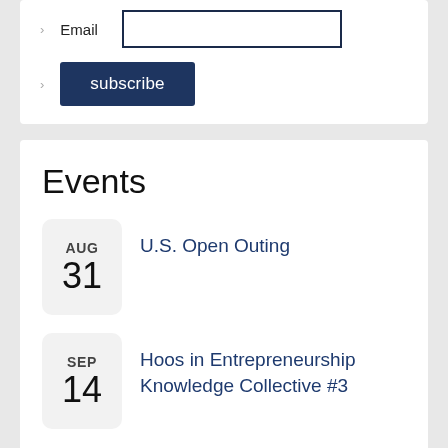Email
subscribe
Events
AUG 31 — U.S. Open Outing
SEP 14 — Hoos in Entrepreneurship Knowledge Collective #3
Full Calendar